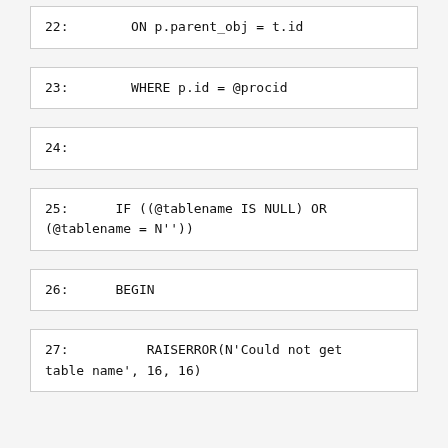22:        ON p.parent_obj = t.id
23:        WHERE p.id = @procid
24:
25:      IF ((@tablename IS NULL) OR (@tablename = N''))
26:      BEGIN
27:           RAISERROR(N'Could not get table name', 16, 16)